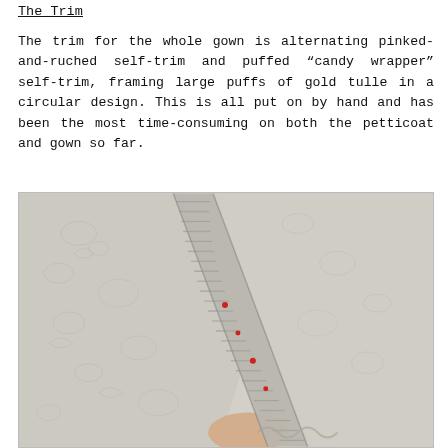The Trim
The trim for the whole gown is alternating pinked-and-ruched self-trim and puffed “candy wrapper” self-trim, framing large puffs of gold tulle in a circular design. This is all put on by hand and has been the most time-consuming on both the petticoat and gown so far.
[Figure (photo): Close-up photograph of a silver/grey brocade fabric with floral pattern, showing a diagonal ruched and pinked self-trim sewn onto the gown, with red pins visible holding the trim in place. The fabric has an embossed floral design throughout.]